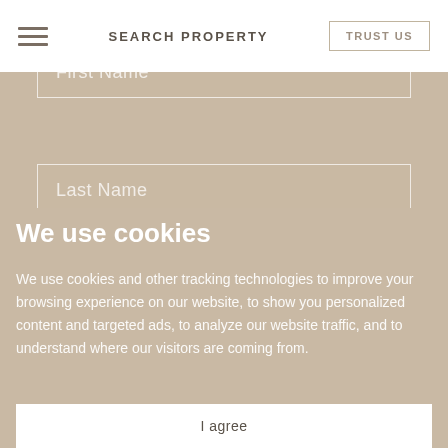SEARCH PROPERTY
TRUST US
First Name
Last Name
We use cookies
We use cookies and other tracking technologies to improve your browsing experience on our website, to show you personalized content and targeted ads, to analyze our website traffic, and to understand where our visitors are coming from.
I agree